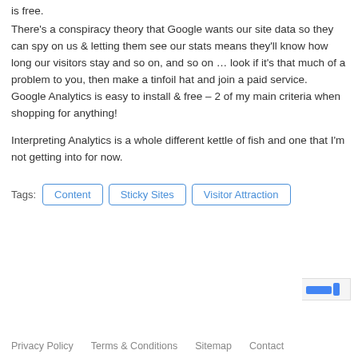is free.
There's a conspiracy theory that Google wants our site data so they can spy on us & letting them see our stats means they'll know how long our visitors stay and so on, and so on … look if it's that much of a problem to you, then make a tinfoil hat and join a paid service.  Google Analytics is easy to install & free – 2 of my main criteria when shopping for anything!
Interpreting Analytics is a whole different kettle of fish and one that I'm not getting into for now.
Tags: Content  Sticky Sites  Visitor Attraction
Privacy Policy   Terms & Conditions   Sitemap   Contact